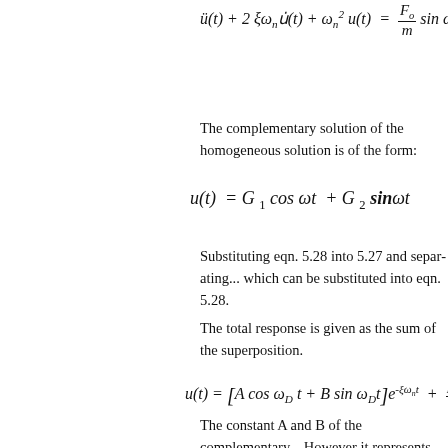The complementary solution of the homogeneous solution is of the form:
Substituting eqn. 5.28 into 5.27 and separating... which can be substituted into eqn. 5.28.
The total response is given as the sum of the superposition.
The constant A and B of the complementary... However it represents the transient response... represents the steady state harmonic response.